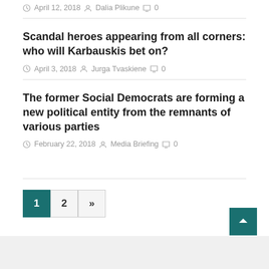April 12, 2018  Dalia Plikune  0
Scandal heroes appearing from all corners: who will Karbauskis bet on?
April 3, 2018  Jurga Tvaskiene  0
The former Social Democrats are forming a new political entity from the remnants of various parties
February 22, 2018  Media Briefing  0
1  2  »